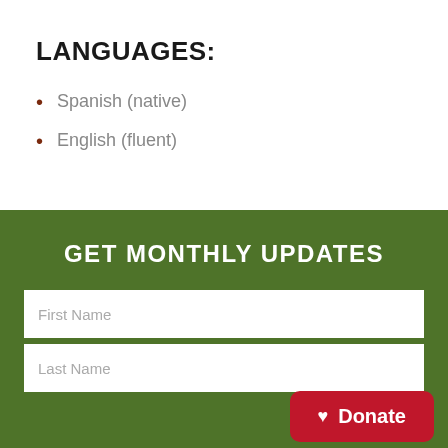LANGUAGES:
Spanish (native)
English (fluent)
GET MONTHLY UPDATES
First Name
Last Name
Donate